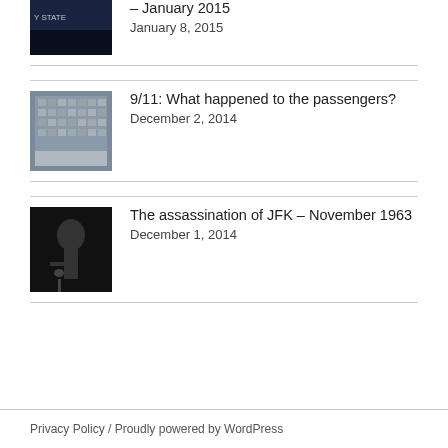[Figure (photo): Partially visible thumbnail image with dark background, presumably a movie/TV still with text 'STATE' visible]
– January 2015
January 8, 2015
[Figure (photo): Thumbnail of a memorial wall with many photographs arranged in a grid, likely 9/11 memorial]
9/11: What happened to the passengers?
December 2, 2014
[Figure (photo): Black and white thumbnail of JFK speaking at a microphone, smiling]
The assassination of JFK – November 1963
December 1, 2014
Privacy Policy  /  Proudly powered by WordPress